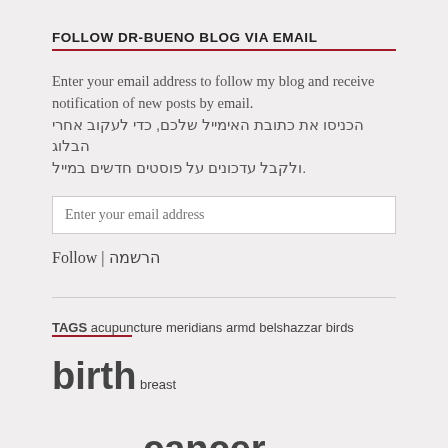FOLLOW DR-BUENO BLOG VIA EMAIL
Enter your email address to follow my blog and receive notification of new posts by email. הכניסו את כתובת האימייל שלכם, כדי לעקוב אחרי הבלוג ולקבל עדכונים על פוסטים חדשים במייל.
Follow | הרשמה
TAGS acupuncture meridians armd belshazzar birds birth breast cancer broccoli cancer cataract cholesterol cocao coffee corona CREATOR crocus denmark diabetes digestion due date eruca sativa eye diseases eyes eyesight fats flu geriatrics